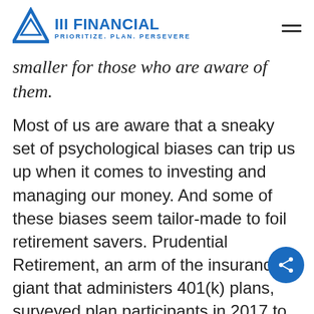III FINANCIAL — PRIORITIZE. PLAN. PERSEVERE.
smaller for those who are aware of them.
Most of us are aware that a sneaky set of psychological biases can trip us up when it comes to investing and managing our money. And some of these biases seem tailor-made to foil retirement savers. Prudential Retirement, an arm of the insurance giant that administers 401(k) plans, surveyed plan participants in 2017 to see